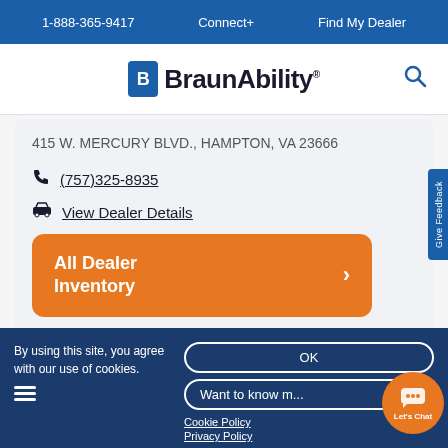1-888-365-9417   Connect+   Find My Dealer
[Figure (logo): BraunAbility logo with blue B icon and bold text BraunAbility, and a search icon on the right]
415 W. MERCURY BLVD., HAMPTON, VA 23666
(757)325-8935
View Dealer Details
All Dealer Inventory
By using this site, you agree with our use of cookies.   OK   Want to know m...   Cookie Policy   Privacy Policy